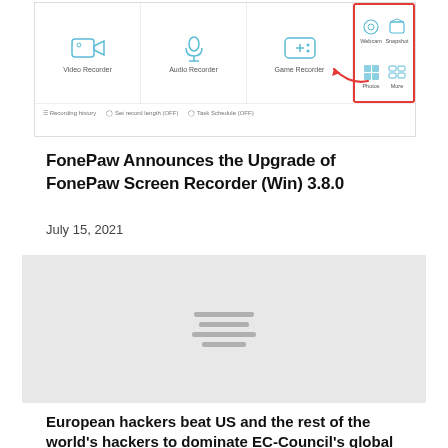[Figure (screenshot): Screenshot of FonePaw Screen Recorder interface showing Video Recorder, Audio Recorder, Game Recorder icons, and a sidebar with Webcam, Snapshot, Photos, More options highlighted in red. A red arrow points to the Game Recorder icon. Bottom bar shows Recording history, Set record length (OFF), Task Schedule (OFF).]
FonePaw Announces the Upgrade of FonePaw Screen Recorder (Win) 3.8.0
July 15, 2021
[Figure (photo): Gray placeholder image with loading lines in the center]
European hackers beat US and the rest of the world's hackers to dominate EC-Council's global Ethical Hacking Leaderboard.